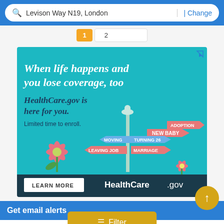Levison Way N19, London | Change
[Figure (screenshot): Pagination row with active page button and page number input]
[Figure (illustration): HealthCare.gov advertisement. Text reads: 'When life happens and you lose coverage, too. HealthCare.gov is here for you. Limited time to enroll.' Shows illustrated signpost with signs: NEW BABY, ADOPTION, MOVING, TURNING 26, LEAVING JOB, MARRIAGE. Bottom shows LEARN MORE button and HealthCare.gov logo.]
Get email alerts
Be the first to know about properties matching your search